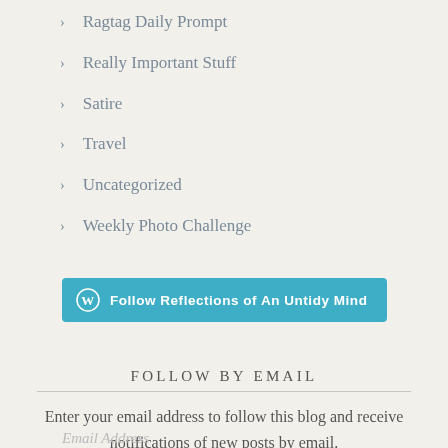Ragtag Daily Prompt
Really Important Stuff
Satire
Travel
Uncategorized
Weekly Photo Challenge
[Figure (other): WordPress Follow button: 'Follow Reflections of An Untidy Mind' in teal/blue with WordPress logo]
FOLLOW BY EMAIL
Enter your email address to follow this blog and receive notifications of new posts by email.
Email Address